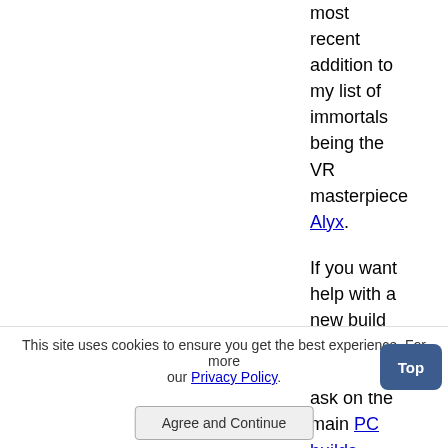most recent addition to my list of immortals being the VR masterpiece Alyx. If you want help with a new build or upgrade feel free to ask on the main PC builds guide. I try to respond to every comment. I
This site uses cookies to ensure you get the best experience. For more our Privacy Policy.
Agree and Continue